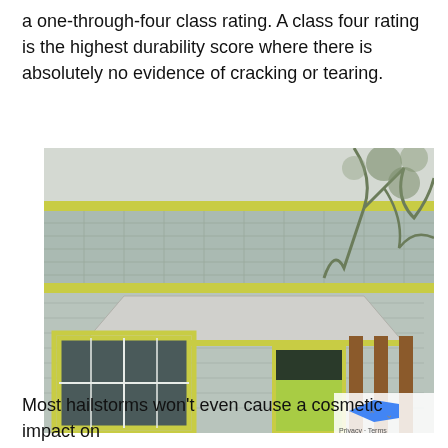a one-through-four class rating. A class four rating is the highest durability score where there is absolutely no evidence of cracking or tearing.
[Figure (photo): Exterior photo of a house with light green/yellow trim, light blue-gray horizontal siding, white-framed windows, a metal roof overhang over the entry porch supported by wooden posts, and a large tree with bare branches in the background.]
Most hailstorms won't even cause a cosmetic impact on